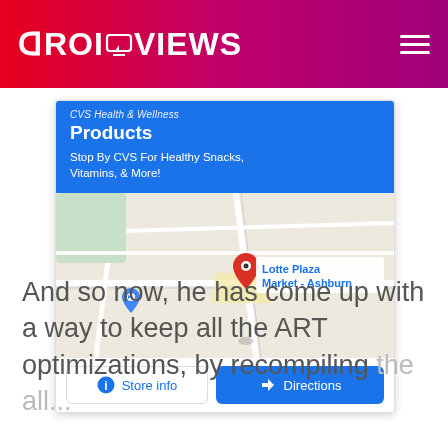DroidViews
[Figure (screenshot): Google Maps card showing a CVS Health & Wellness Products ad banner and a map with a location pin near Lotte Plaza Market - Ashburn, with Store info and Directions buttons]
And so now, he has come up with a way to keep all the ART optimizations, by recompiling the all...